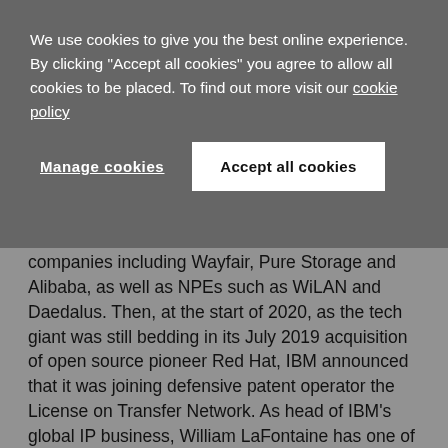We use cookies to give you the best online experience. By clicking "Accept all cookies" you agree to allow all cookies to be placed. To find out more visit our cookie policy
Manage cookies
Accept all cookies
companies including Wayfair, Pure Storage and Alibaba, as well as NPEs such as WiLAN and Daedalus. Then, at the start of 2020, as the tech giant was still bedding in its July 2019 acquisition of open source pioneer Red Hat, IBM announced that it was joining defensive patent operator the License on Transfer Network. As head of IBM's global IP business, William LaFontaine has one of the biggest jobs in the corporate patent world with responsibility for licensing and sales